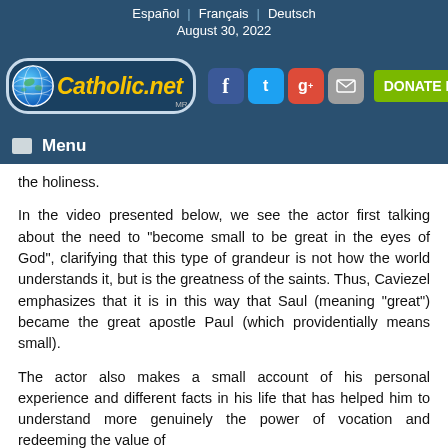Español | Français | Deutsch
August 30, 2022
[Figure (logo): Catholic.net logo with globe, social media icons (Facebook, Twitter, Google+, Mail), and DONATE NOW button]
Menu
the holiness.
In the video presented below, we see the actor first talking about the need to "become small to be great in the eyes of God", clarifying that this type of grandeur is not how the world understands it, but is the greatness of the saints. Thus, Caviezel emphasizes that it is in this way that Saul (meaning "great") became the great apostle Paul (which providentially means small).
The actor also makes a small account of his personal experience and different facts in his life that has helped him to understand more genuinely the power of vocation and redeeming the value of